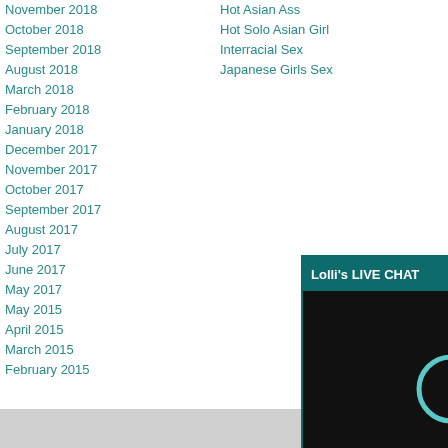November 2018
October 2018
September 2018
August 2018
March 2018
February 2018
January 2018
December 2017
November 2017
October 2017
September 2017
August 2017
July 2017
June 2017
May 2017
May 2015
April 2015
March 2015
February 2015
Hot Asian Ass
Hot Solo Asian Girl
Interracial Sex
Japanese Girls Sex
[Figure (screenshot): Live chat widget with dark teal header reading 'Lolli's LIVE CHAT', a black video area showing an HD badge and a teal loading spinner, and a chat input row with placeholder 'Chat with me LIVE now!' and a Send button.]